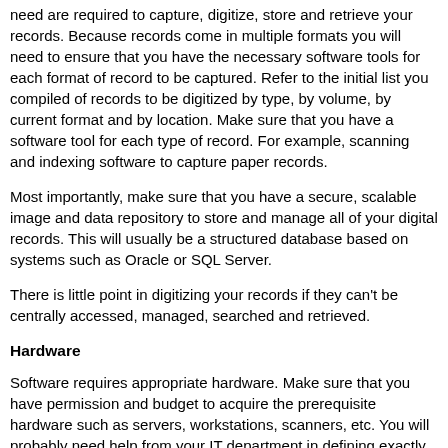need are required to capture, digitize, store and retrieve your records. Because records come in multiple formats you will need to ensure that you have the necessary software tools for each format of record to be captured. Refer to the initial list you compiled of records to be digitized by type, by volume, by current format and by location. Make sure that you have a software tool for each type of record. For example, scanning and indexing software to capture paper records.
Most importantly, make sure that you have a secure, scalable image and data repository to store and manage all of your digital records. This will usually be a structured database based on systems such as Oracle or SQL Server.
There is little point in digitizing your records if they can't be centrally accessed, managed, searched and retrieved.
Hardware
Software requires appropriate hardware. Make sure that you have permission and budget to acquire the prerequisite hardware such as servers, workstations, scanners, etc. You will probably need help from your IT department in defining exactly what is required.